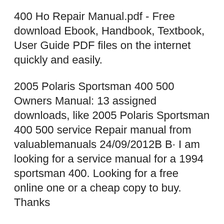400 Ho Repair Manual.pdf - Free download Ebook, Handbook, Textbook, User Guide PDF files on the internet quickly and easily.
2005 Polaris Sportsman 400 500 Owners Manual: 13 assigned downloads, like 2005 Polaris Sportsman 400 500 service Repair manual from valuablemanuals 24/09/2012B B· I am looking for a service manual for a 1994 sportsman 400. Looking for a free online one or a cheap copy to buy. Thanks
2009 Polaris Sportsman 400 Ho Repair Manual.pdf - Free download Ebook, Handbook, Textbook, User Guide PDF files on the internet quickly and easily.